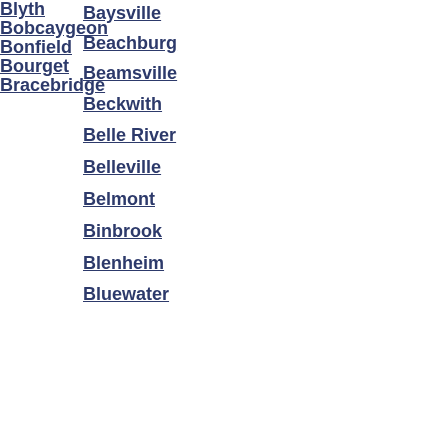Baysville
Beachburg
Beamsville
Beckwith
Belle River
Belleville
Belmont
Binbrook
Blenheim
Bluewater
Blyth
Bobcaygeon
Bonfield
Bourget
Bracebridge
Bradford West Gwillimbury